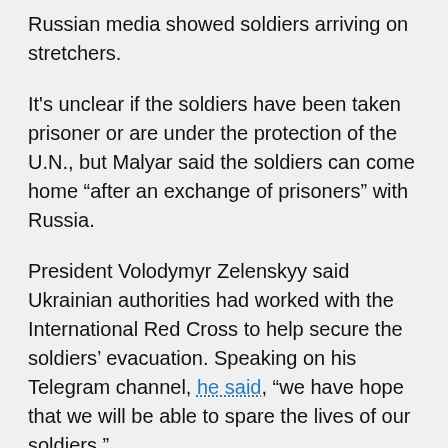Russian media showed soldiers arriving on stretchers.
It's unclear if the soldiers have been taken prisoner or are under the protection of the U.N., but Malyar said the soldiers can come home “after an exchange of prisoners” with Russia.
President Volodymyr Zelenskyy said Ukrainian authorities had worked with the International Red Cross to help secure the soldiers’ evacuation. Speaking on his Telegram channel, he said, “we have hope that we will be able to spare the lives of our soldiers.”
“I would like to emphasize: Ukraine needs its heroes alive,” he said.
Hundreds of soldiers remain in the plant. It’s unclear how long it will take to get everyone out.